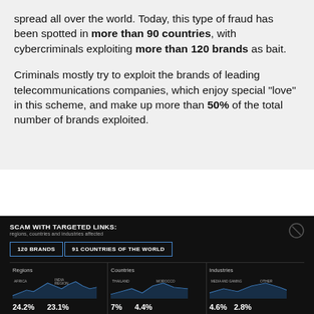spread all over the world. Today, this type of fraud has been spotted in more than 90 countries, with cybercriminals exploiting more than 120 brands as bait.
Criminals mostly try to exploit the brands of leading telecommunications companies, which enjoy special "love" in this scheme, and make up more than 50% of the total number of brands exploited.
SCAM WITH TARGETED LINKS: regions, countries and industries affected
[Figure (infographic): Dark panel showing two tabs: '120 BRANDS' and '91 COUNTRIES OF THE WORLD', below which are three columns: Regions (showing 24.2% and 23.1%), Countries (showing 7% and 4.4%), Industries (showing 4.6% and 2.8%), each with a small sparkline/area chart.]